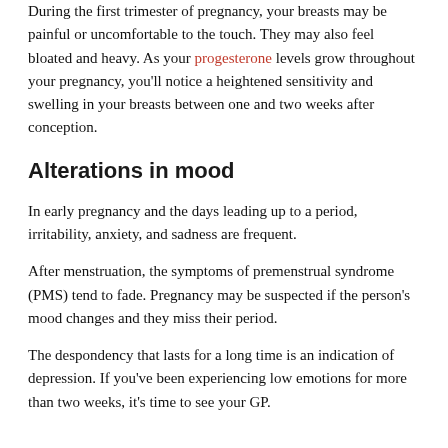During the first trimester of pregnancy, your breasts may be painful or uncomfortable to the touch. They may also feel bloated and heavy. As your progesterone levels grow throughout your pregnancy, you'll notice a heightened sensitivity and swelling in your breasts between one and two weeks after conception.
Alterations in mood
In early pregnancy and the days leading up to a period, irritability, anxiety, and sadness are frequent.
After menstruation, the symptoms of premenstrual syndrome (PMS) tend to fade. Pregnancy may be suspected if the person's mood changes and they miss their period.
The despondency that lasts for a long time is an indication of depression. If you've been experiencing low emotions for more than two weeks, it's time to see your GP.